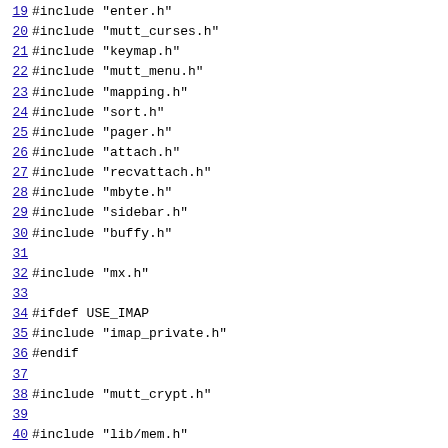19 #include "enter.h"
20 #include "mutt_curses.h"
21 #include "keymap.h"
22 #include "mutt_menu.h"
23 #include "mapping.h"
24 #include "sort.h"
25 #include "pager.h"
26 #include "attach.h"
27 #include "recvattach.h"
28 #include "mbyte.h"
29 #include "sidebar.h"
30 #include "buffy.h"
31
32 #include "mx.h"
33
34 #ifdef USE_IMAP
35 #include "imap_private.h"
36 #endif
37
38 #include "mutt_crypt.h"
39
40 #include "lib/mem.h"
41 #include "lib/intl.h"
42 #include "lib/str.h"
43 #include "lib/rx.h"